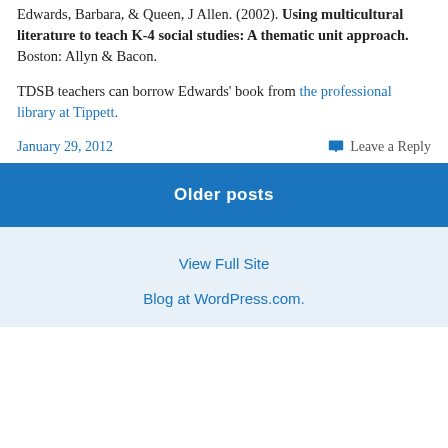Edwards, Barbara, & Queen, J Allen. (2002). Using multicultural literature to teach K-4 social studies: A thematic unit approach. Boston: Allyn & Bacon.
TDSB teachers can borrow Edwards' book from the professional library at Tippett.
January 29, 2012    Leave a Reply
Older posts
View Full Site
Blog at WordPress.com.